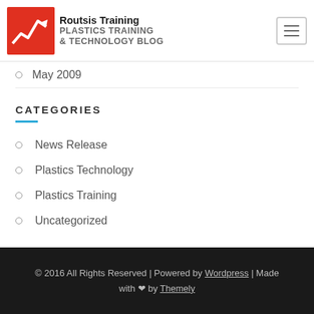[Figure (logo): Routsis Training logo with red arrow graphic and text 'Routsis Training PLASTICS TRAINING & TECHNOLOGY BLOG']
May 2009
CATEGORIES
News Release
Plastics Technology
Plastics Training
Uncategorized
© 2016 All Rights Reserved | Powered by Wordpress | Made with ♥ by Themely